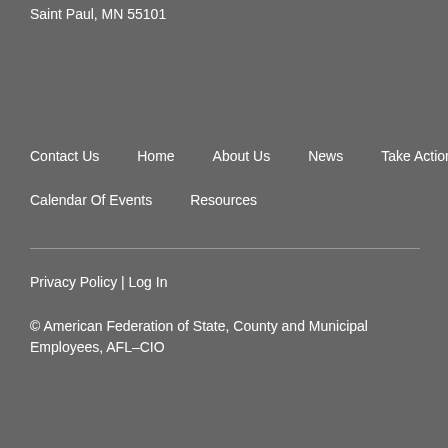Saint Paul, MN 55101
Contact Us
Home
About Us
News
Take Action
Calendar Of Events
Resources
Privacy Policy | Log In
© American Federation of State, County and Municipal Employees, AFL–CIO